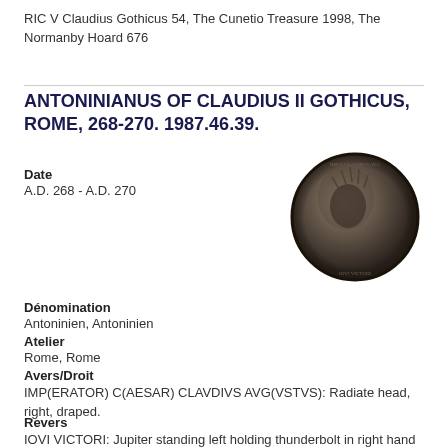RIC V Claudius Gothicus 54, The Cunetio Treasure 1998, The Normanby Hoard 676
ANTONINIANUS OF CLAUDIUS II GOTHICUS, ROME, 268-270. 1987.46.39.
Date
A.D. 268 - A.D. 270
[Figure (photo): Ancient Roman coin showing radiate head of Claudius II Gothicus, right profile, draped]
Dénomination
Antoninien, Antoninien
Atelier
Rome, Rome
Avers/Droit
IMP(ERATOR) C(AESAR) CLAVDIVS AVG(VSTVS): Radiate head, right, draped.
Revers
IOVI VICTORI: Jupiter standing left holding thunderbolt in right hand and sceptre in left.